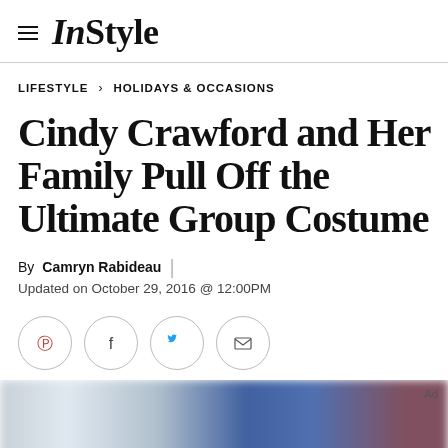InStyle
LIFESTYLE > HOLIDAYS & OCCASIONS
Cindy Crawford and Her Family Pull Off the Ultimate Group Costume
By Camryn Rabideau
Updated on October 29, 2016 @ 12:00PM
[Figure (other): Social sharing icons: Pinterest, Facebook, Twitter, Email]
[Figure (photo): Blurred photo preview at bottom of page]